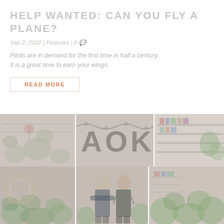HELP WANTED: CAN YOU FLY A PLANE?
Sep 2, 2022 | Features | 0
Pilots are in demand for the first time in half a century. It is a great time to earn your wings.
READ MORE
[Figure (photo): A photo collage showing a florist shop interior with plants, decorative signs with large letters, two people (a man and a woman) standing among plants, and shelves with books or items.]